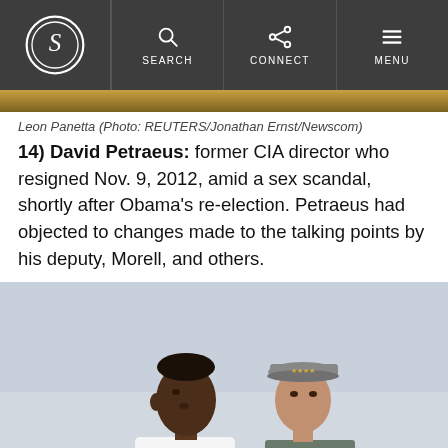Snopes navigation bar with logo, SEARCH, CONNECT, MENU
[Figure (photo): Cropped photo strip showing bottom edge of a photo (Leon Panetta image)]
Leon Panetta (Photo: REUTERS/Jonathan Ernst/Newscom)
14) David Petraeus: former CIA director who resigned Nov. 9, 2012, amid a sex scandal, shortly after Obama's re-election. Petraeus had objected to changes made to the talking points by his deputy, Morell, and others.
[Figure (photo): Photo of Barack Obama (left) in white shirt and a military officer (right) wearing a gray military cap with stars, standing outdoors against a light sky background.]